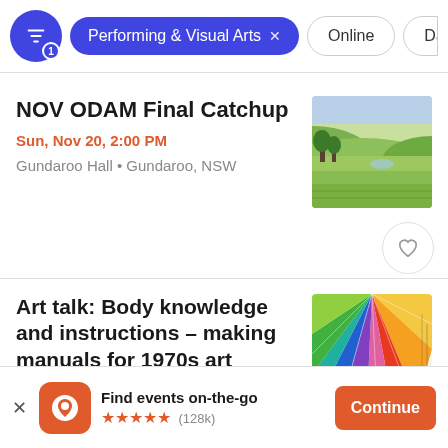Performing & Visual Arts (filter active), Online, Date
NOV ODAM Final Catchup
Sun, Nov 20, 2:00 PM
Gundaroo Hall • Gundaroo, NSW
[Figure (photo): Aerial landscape photo of green fields and trees in rural NSW]
Art talk: Body knowledge and instructions – making manuals for 1970s art
[Figure (photo): Colourful abstract art with rainbow pencil or crayon strokes on white paper]
Find events on-the-go ★★★★★ (128k)
Continue